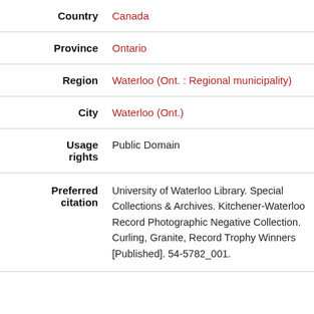| Field | Value |
| --- | --- |
| Country | Canada |
| Province | Ontario |
| Region | Waterloo (Ont. : Regional municipality) |
| City | Waterloo (Ont.) |
| Usage rights | Public Domain |
| Preferred citation | University of Waterloo Library. Special Collections & Archives. Kitchener-Waterloo Record Photographic Negative Collection. Curling, Granite, Record Trophy Winners [Published]. 54-5782_001. |